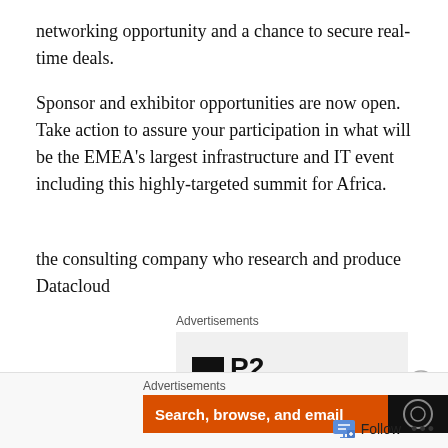networking opportunity and a chance to secure real-time deals.
Sponsor and exhibitor opportunities are now open. Take action to assure your participation in what will be the EMEA's largest infrastructure and IT event including this highly-targeted summit for Africa.
the consulting company who research and produce Datacloud
[Figure (screenshot): Advertisement box showing a logo with a dark square icon and bold text 'P2', labeled 'Advertisements' above it, with a close button (X in circle) to the right.]
[Figure (screenshot): Bottom advertisement bar labeled 'Advertisements' with an orange banner reading 'Search, browse, and email' and a dark logo section on the right.]
[Figure (screenshot): Follow bar at bottom right with a follow icon, 'Follow' text, and '...' more options button.]